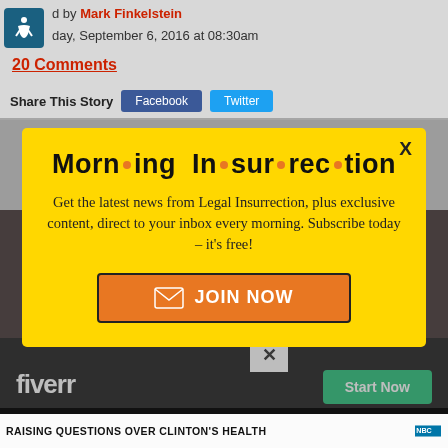d by Mark Finkelstein
day, September 6, 2016 at 08:30am
20 Comments
Share This Story  Facebook  Twitter
[Figure (screenshot): Modal popup overlay for Morning Insurrection newsletter signup on Legal Insurrection website. Yellow background modal with title 'Morn·ing In·sur·rec·tion', body text 'Get the latest news from Legal Insurrection, plus exclusive content, direct to your inbox every morning. Subscribe today – it's free!', orange JOIN NOW button. Background shows website header, share buttons, and bottom Fiverr advertisement banner.]
Morn·ing In·sur·rec·tion
Get the latest news from Legal Insurrection, plus exclusive content, direct to your inbox every morning. Subscribe today – it's free!
JOIN NOW
fiverr
Start Now
RAISING QUESTIONS OVER CLINTON'S HEALTH